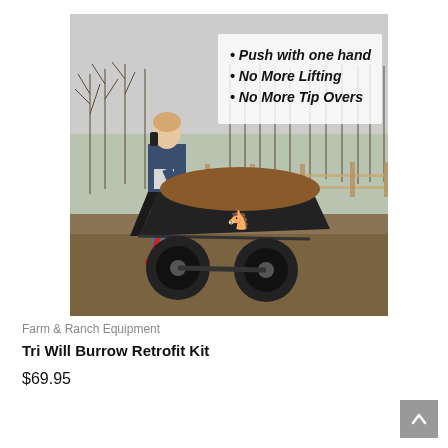[Figure (photo): A woman standing outdoors on a farm holding a black wheelbarrow with a red frame and two wheels, loaded with mulch/dirt. Trees and a fence visible in background. Text overlay reads bullet points: 'Push with one hand', 'No More Lifting', 'No More Tip Overs' in bold italic black text.]
Farm & Ranch Equipment
Tri Will Burrow Retrofit Kit
$69.95